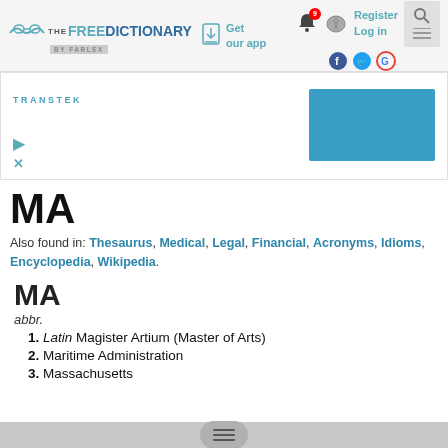[Figure (logo): The Free Dictionary by Farlex logo with glasses icon]
Get our app
Register
Log in
[Figure (infographic): Advertisement banner with TRANSTEK branding and blue rectangle]
MA
Also found in: Thesaurus, Medical, Legal, Financial, Acronyms, Idioms, Encyclopedia, Wikipedia.
MA
abbr.
1. Latin Magister Artium (Master of Arts)
2. Maritime Administration
3. Massachusetts